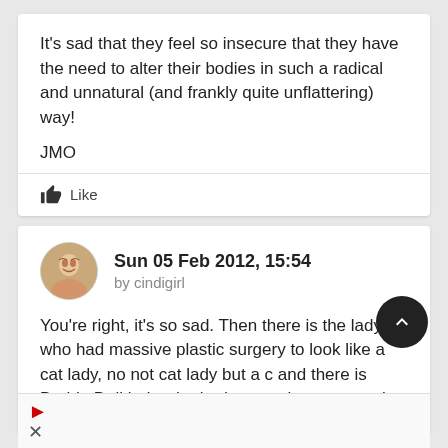It's sad that they feel so insecure that they have the need to alter their bodies in such a radical and unnatural (and frankly quite unflattering) way!
JMO
Like
Sun 05 Feb 2012, 15:54
by cindigirl
You're right, it's so sad. Then there is the lady who had massive plastic surgery to look like a cat lady, no not cat lady but a c and there is Barbie Doll lady who had so much surgery to loo like Barbie Doll. No, I don't mean Stacy. LOl